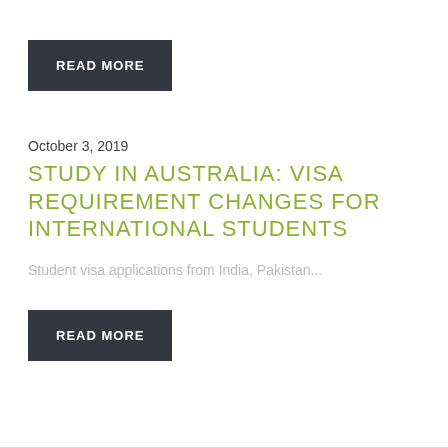READ MORE
October 3, 2019
STUDY IN AUSTRALIA: VISA REQUIREMENT CHANGES FOR INTERNATIONAL STUDENTS
Student visa applications from India, Pakistan...
READ MORE